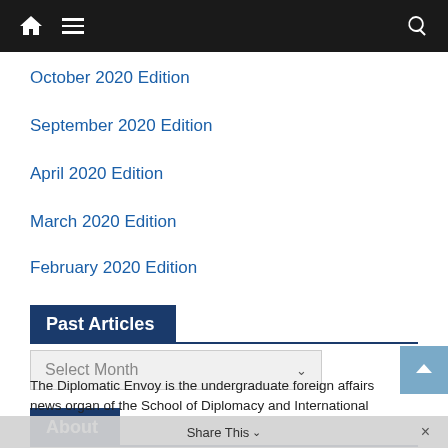Navigation bar with home, menu, and search icons
October 2020 Edition
September 2020 Edition
April 2020 Edition
March 2020 Edition
February 2020 Edition
Past Articles
Select Month
About
The Diplomatic Envoy is the undergraduate foreign affairs news organ of the School of Diplomacy and International
Share This